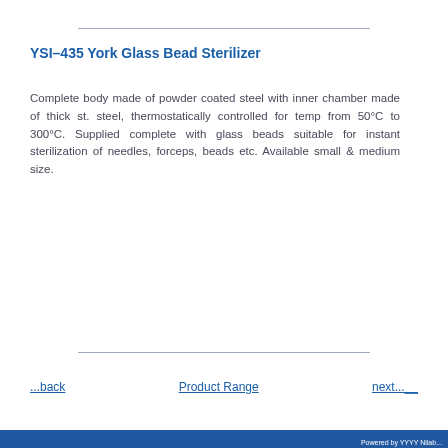YSI–435 York Glass Bead Sterilizer
Complete body made of powder coated steel with inner chamber made of thick st. steel, thermostatically controlled for temp from 50°C to 300°C. Supplied complete with glass beads suitable for instant sterilization of needles, forceps, beads etc. Available small & medium size.
...back   Product Range   next...